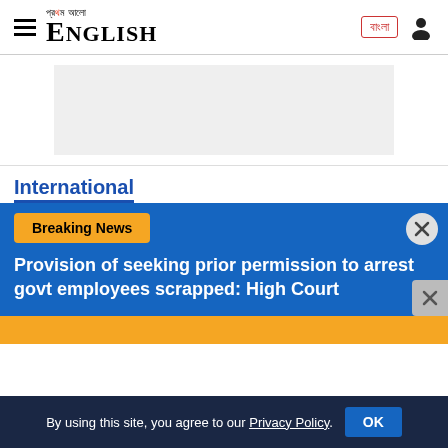Prothom Alo English — navigation header with logo, bangla button, user icon
[Figure (other): Advertisement placeholder — grey rectangle]
International
Breaking News
Provision of seeking prior permission to arrest govt employees scrapped: High Court
By using this site, you agree to our Privacy Policy.  OK